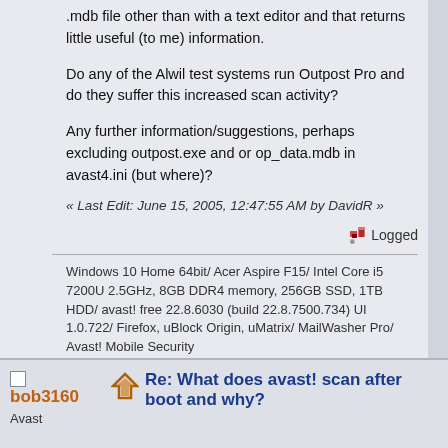.mdb file other than with a text editor and that returns little useful (to me) information.
Do any of the Alwil test systems run Outpost Pro and do they suffer this increased scan activity?
Any further information/suggestions, perhaps excluding outpost.exe and or op_data.mdb in avast4.ini (but where)?
« Last Edit: June 15, 2005, 12:47:55 AM by DavidR »
Logged
Windows 10 Home 64bit/ Acer Aspire F15/ Intel Core i5 7200U 2.5GHz, 8GB DDR4 memory, 256GB SSD, 1TB HDD/ avast! free 22.8.6030 (build 22.8.7500.734) UI 1.0.722/ Firefox, uBlock Origin, uMatrix/ MailWasher Pro/ Avast! Mobile Security
bob3160
Avast
Re: What does avast! scan after boot and why?